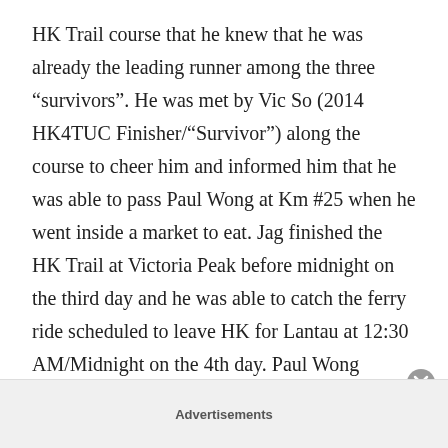HK Trail course that he knew that he was already the leading runner among the three “survivors”. He was met by Vic So (2014 HK4TUC Finisher/“Survivor”) along the course to cheer him and informed him that he was able to pass Paul Wong at Km #25 when he went inside a market to eat. Jag finished the HK Trail at Victoria Peak before midnight on the third day and he was able to catch the ferry ride scheduled to leave HK for Lantau at 12:30 AM/Midnight on the 4th day. Paul Wong arrived at the Victoria Peak at 1:00 AM of January 4 while Janelle Seet finished the HK Trail later in the evening. Unknowingly from Jag, the two runners finally
Advertisements